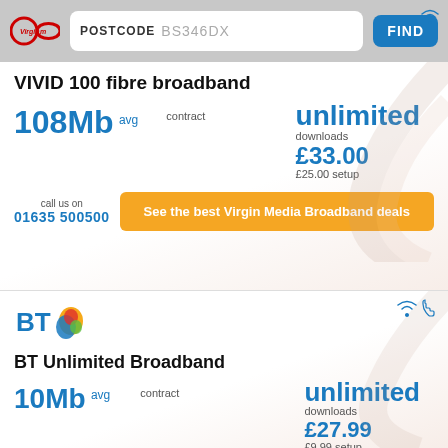[Figure (screenshot): Virgin Media logo with infinity symbol and red swoosh]
POSTCODE BS346DX
FIND
VIVID 100 fibre broadband
108Mb avg
contract
unlimited downloads
£33.00
£25.00 setup
call us on
01635 500500
See the best Virgin Media Broadband deals
[Figure (logo): BT logo with orange and blue sphere]
BT Unlimited Broadband
10Mb avg
contract
unlimited downloads
£27.99
£9.99 setup